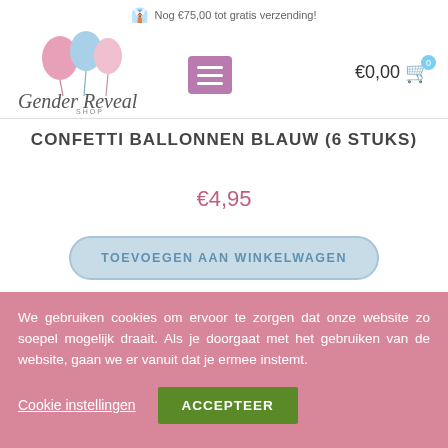Nog €75,00 tot gratis verzending!
[Figure (logo): Gender Reveal Shop logo with pink and blue balloons and cursive text]
CONFETTI BALLONNEN BLAUW (6 STUKS)
€4,95
TOEVOEGEN AAN WINKELWAGEN
We gebruiken cookies om ervoor te zorgen dat onze website zo soepel mogelijk draait. Als je doorgaat met het gebruiken van de website, gaan we er vanuit dat je ermee instemt.
Cookie instellingen
ACCEPTEER